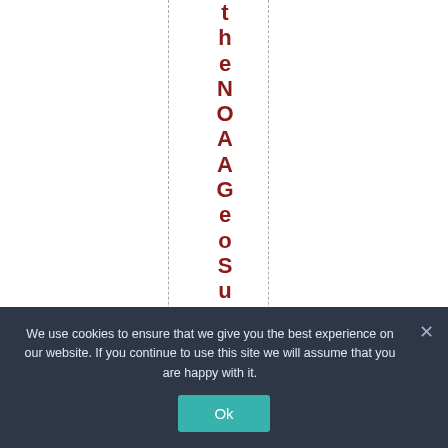theNOAAGeoSummit re
We use cookies to ensure that we give you the best experience on our website. If you continue to use this site we will assume that you are happy with it.